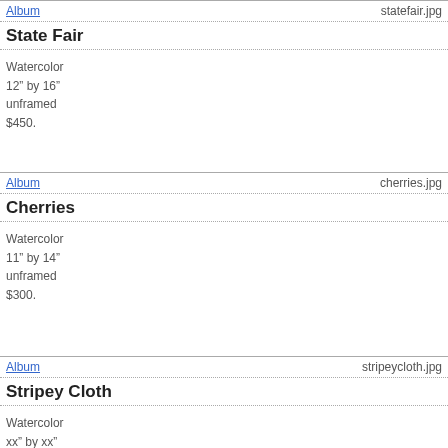Album    statefair.jpg
State Fair
Watercolor
12" by 16"
unframed
$450.
Album    cherries.jpg
Cherries
Watercolor
11" by 14"
unframed
$300.
Album    stripeycloth.jpg
Stripey Cloth
Watercolor
xx" by xx"
unframed